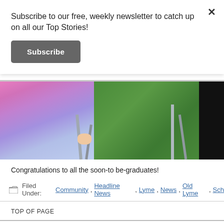Subscribe to our free, weekly newsletter to catch up on all our Top Stories!
Subscribe
[Figure (photo): Photo showing lower portion of a child in a colorful pink/purple tutu dress sitting in a chair on grass, with chair legs visible and a dark-clothed figure on the right edge.]
Congratulations to all the soon-to be-graduates!
Filed Under: Community, Headline News, Lyme, News, Old Lyme, Sch
TOP OF PAGE